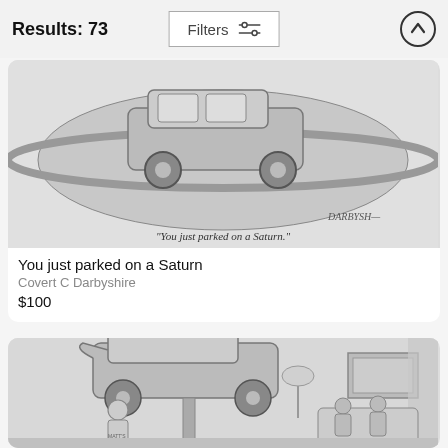Results: 73
Filters
[Figure (illustration): Cartoon showing a car parked on planet Saturn, with caption 'You just parked on a Saturn.' signed by Darbyshire]
You just parked on a Saturn
Covert C Darbyshire
$100
[Figure (illustration): Cartoon showing a mechanic working under a car on a lift inside what appears to be a living room (Matt's Garage), with two people sitting on a couch in the background]